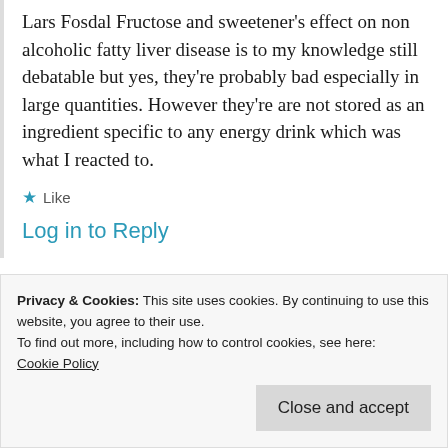Lars Fosdal Fructose and sweetener's effect on non alcoholic fatty liver disease is to my knowledge still debatable but yes, they're probably bad especially in large quantities. However they're are not stored as an ingredient specific to any energy drink which was what I reacted to.
★ Like
Log in to Reply
Privacy & Cookies: This site uses cookies. By continuing to use this website, you agree to their use.
To find out more, including how to control cookies, see here:
Cookie Policy